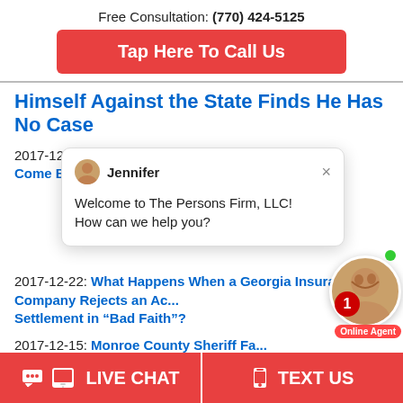Free Consultation: (770) 424-5125
Tap Here To Call Us
Himself Against the State Finds He Has No Case
2017-12-29: Insurance C... Come Back
2017-12-22: What Happens When a Georgia Insurance Company Rejects an Accident Settlement in “Bad Faith”?
2017-12-15: Monroe County Sheriff Fa...
Jennifer
Welcome to The Persons Firm, LLC!
How can we help you?
LIVE CHAT   TEXT US